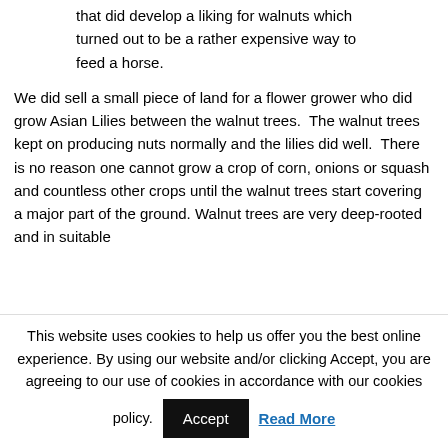that did develop a liking for walnuts which turned out to be a rather expensive way to feed a horse.
We did sell a small piece of land for a flower grower who did grow Asian Lilies between the walnut trees. The walnut trees kept on producing nuts normally and the lilies did well. There is no reason one cannot grow a crop of corn, onions or squash and countless other crops until the walnut trees start covering a major part of the ground. Walnut trees are very deep-rooted and in suitable
This website uses cookies to help us offer you the best online experience. By using our website and/or clicking Accept, you are agreeing to our use of cookies in accordance with our cookies policy. Accept Read More